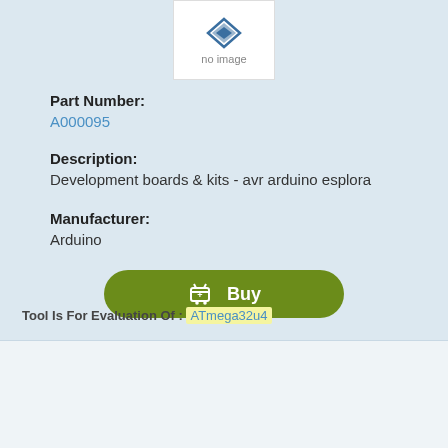[Figure (logo): No image placeholder with diamond-shape logo icon and 'no image' text, white box on light blue background]
Part Number:
A000095
Description:
Development boards & kits - avr arduino esplora
Manufacturer:
Arduino
[Figure (other): Green rounded Buy button with shopping cart icon]
Tool Is For Evaluation Of : ATmega32u4
[Figure (logo): No image placeholder with diamond-shape logo icon and 'no image' text, white box on light background]